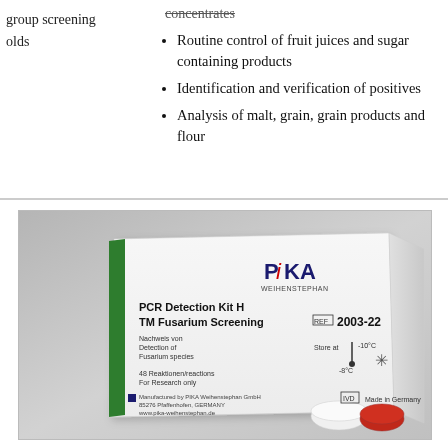group screening
olds
concentrates
Routine control of fruit juices and sugar containing products
Identification and verification of positives
Analysis of malt, grain, grain products and flour
[Figure (photo): Product photo of a PCR Detection Kit H TM Fusarium Screening, REF 2003-22, manufactured by PIKA Weihenstephan GmbH. White box with green stripe, showing label text: Nachweis von / Detection of / Fusarium species, 48 Reaktionen/reactions, For Research only. PIKA Weihenstephan logo visible on box front. Storage temperature icons shown.]